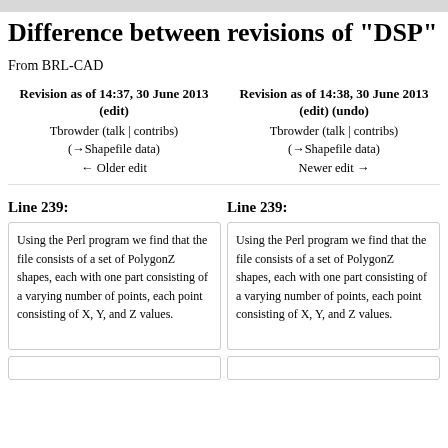Difference between revisions of "DSP"
From BRL-CAD
| Revision as of 14:37, 30 June 2013 (edit) | Revision as of 14:38, 30 June 2013 (edit) (undo) |
| --- | --- |
| Tbrowder (talk | contribs)
(→Shapefile data)
← Older edit | Tbrowder (talk | contribs)
(→Shapefile data)
Newer edit → |
Line 239:
Line 239:
Using the Perl program we find that the file consists of a set of PolygonZ shapes, each with one part consisting of a varying number of points, each point consisting of X, Y, and Z values.
Using the Perl program we find that the file consists of a set of PolygonZ shapes, each with one part consisting of a varying number of points, each point consisting of X, Y, and Z values.